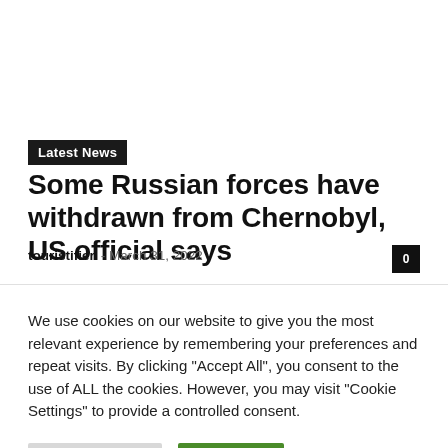Latest News
Some Russian forces have withdrawn from Chernobyl, US official says
touristifier - March 31, 2022
We use cookies on our website to give you the most relevant experience by remembering your preferences and repeat visits. By clicking "Accept All", you consent to the use of ALL the cookies. However, you may visit "Cookie Settings" to provide a controlled consent.